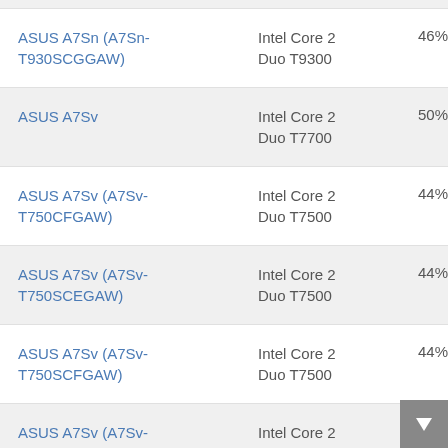| Device | CPU | Score |
| --- | --- | --- |
| ASUS A7Sn (A7Sn-T930SCGGAW) | Intel Core 2 Duo T9300 | 46% |
| ASUS A7Sv | Intel Core 2 Duo T7700 | 50% |
| ASUS A7Sv (A7Sv-T750CFGAW) | Intel Core 2 Duo T7500 | 44% |
| ASUS A7Sv (A7Sv-T750SCEGAW) | Intel Core 2 Duo T7500 | 44% |
| ASUS A7Sv (A7Sv-T750SCFGAW) | Intel Core 2 Duo T7500 | 44% |
| ASUS A7Sv (A7Sv- | Intel Core 2 | 50% |